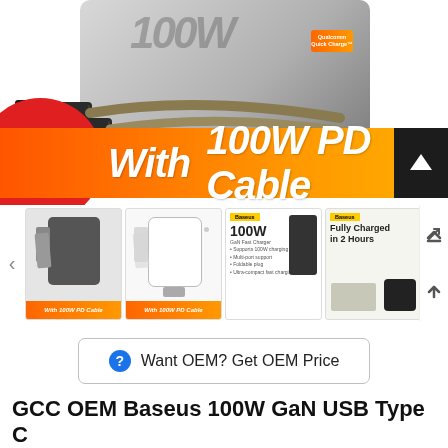[Figure (photo): Product hero image showing Baseus 100W GaN USB Type C charger with two USB-C cables in front, overlaid with an orange banner reading 'With 100W PD Cable' and a red circle accent. Below are four product thumbnail images showing the charger in different angles and spec cards.]
Want OEM? Get OEM Price
GCC OEM Baseus 100W GaN USB Type C